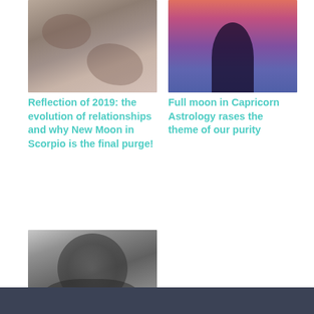[Figure (photo): Close-up photo of hands, muted warm tones]
[Figure (photo): Silhouette of a person against a purple-pink sunset sky]
Reflection of 2019: the evolution of relationships and why New Moon in Scorpio is the final purge!
Full moon in Capricorn Astrology rases the theme of our purity
[Figure (photo): Black and white photo of a muscular statue or figure]
Conscious self-reflection is the Courage of authenticity